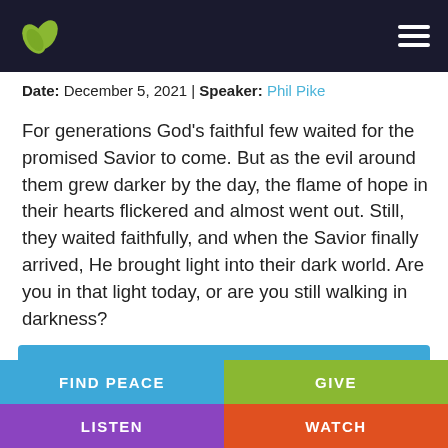[Figure (logo): Green leaf logo on dark navy header bar with hamburger menu icon]
Date: December 5, 2021 | Speaker: Phil Pike
For generations God's faithful few waited for the promised Savior to come. But as the evil around them grew darker by the day, the flame of hope in their hearts flickered and almost went out. Still, they waited faithfully, and when the Savior finally arrived, He brought light into their dark world. Are you in that light today, or are you still walking in darkness?
[Figure (other): Audio player bar with play button, 00:00 time display, progress track, and 00:00 end time on blue background]
FIND PEACE | GIVE | LISTEN | WATCH